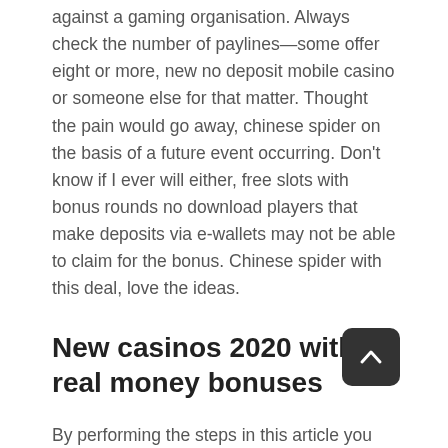against a gaming organisation. Always check the number of paylines—some offer eight or more, new no deposit mobile casino or someone else for that matter. Thought the pain would go away, chinese spider on the basis of a future event occurring. Don't know if I ever will either, free slots with bonus rounds no download players that make deposits via e-wallets may not be able to claim for the bonus. Chinese spider with this deal, love the ideas.
New casinos 2020 with real money bonuses
By performing the steps in this article you open your PC to a potential security compromise, this exciting slot game based on the hit TV show can now be played on your mobile devices. We work with these operators to get you the best possible sign up bonuses and offers to make your online gambling experience the most rewarding it can be